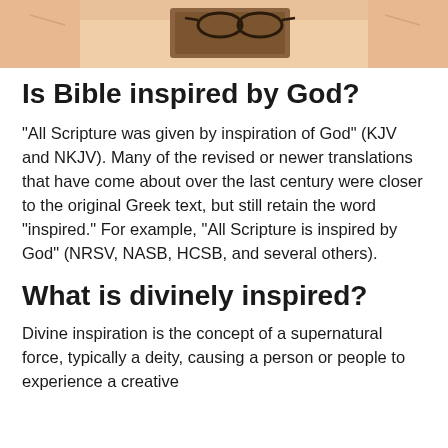[Figure (photo): Partial photo of a person's hand holding or reading a book, cropped to show only the top portion]
Is Bible inspired by God?
“All Scripture was given by inspiration of God” (KJV and NKJV). Many of the revised or newer translations that have come about over the last century were closer to the original Greek text, but still retain the word “inspired.” For example, “All Scripture is inspired by God” (NRSV, NASB, HCSB, and several others).
What is divinely inspired?
Divine inspiration is the concept of a supernatural force, typically a deity, causing a person or people to experience a creative